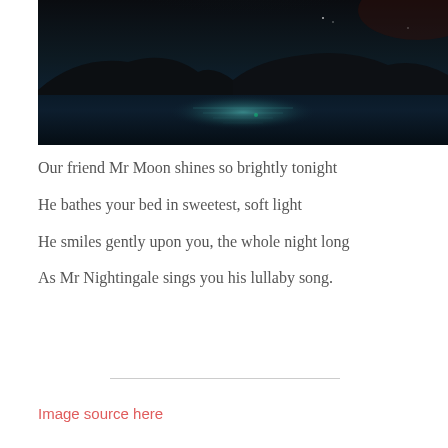[Figure (photo): Night scene with dark silhouetted hills against a dark sky, with moonlight reflecting on calm water below]
Our friend Mr Moon shines so brightly tonight
He bathes your bed in sweetest, soft light
He smiles gently upon you, the whole night long
As Mr Nightingale sings you his lullaby song.
Image source here